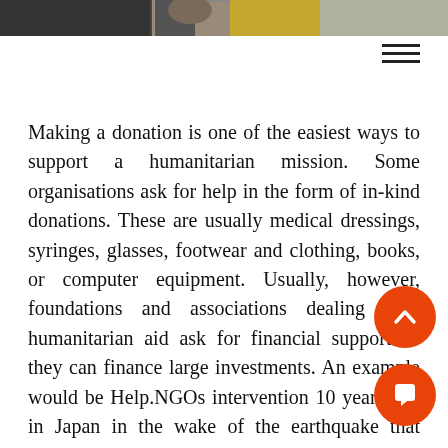[Figure (photo): Partial photo strip at top of page showing people outdoors]
Making a donation is one of the easiest ways to support a humanitarian mission. Some organisations ask for help in the form of in-kind donations. These are usually medical dressings, syringes, glasses, footwear and clothing, books, or computer equipment. Usually, however, foundations and associations dealing with humanitarian aid ask for financial support so they can finance large investments. An example would be Help.NGOs intervention 10 years ago in Japan in the wake of the earthquake that caused a massive tsunami leading to the Fukushima Daiichi nuclear disaster. Thanks to donors, the Help.NGO Foundation purchased radiation monitoring